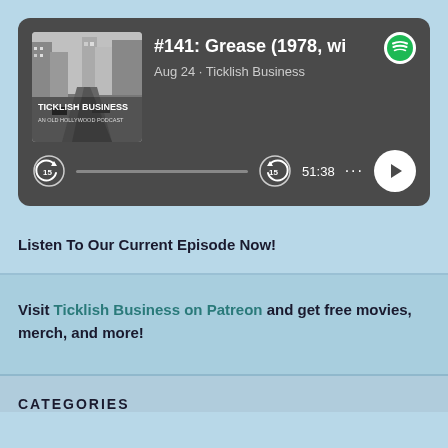[Figure (screenshot): Spotify podcast player card showing episode #141: Grease (1978, wi) by Ticklish Business podcast, Aug 24, with album art of a black and white Hollywood street scene, playback controls, progress bar, time 51:38, and Spotify logo.]
Listen To Our Current Episode Now!
Visit Ticklish Business on Patreon and get free movies, merch, and more!
CATEGORIES